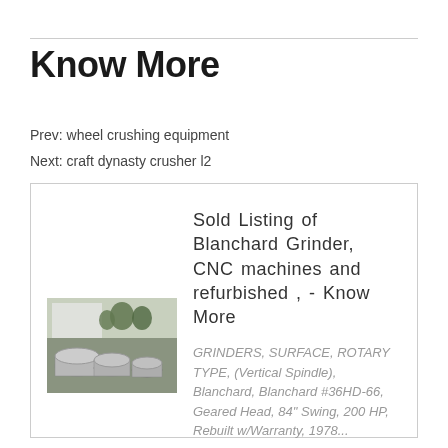Know More
Prev: wheel crushing equipment
Next: craft dynasty crusher l2
[Figure (photo): Photo of industrial cylindrical metal parts or drum-like machine components stacked outdoors near a building with trees in background.]
Sold Listing of Blanchard Grinder, CNC machines and refurbished , - Know More
GRINDERS, SURFACE, ROTARY TYPE, (Vertical Spindle), Blanchard, Blanchard #36HD-66, Geared Head, 84" Swing, 200 HP, Rebuilt w/Warranty, 1978...